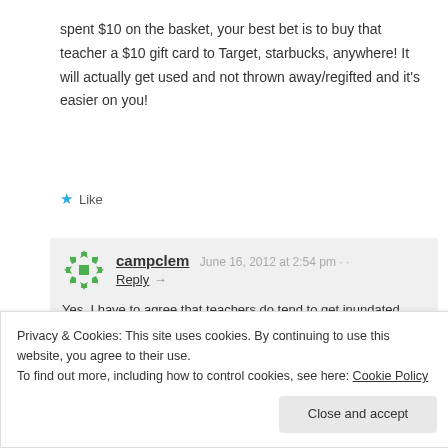spent $10 on the basket, your best bet is to buy that teacher a $10 gift card to Target, starbucks, anywhere! It will actually get used and not thrown away/regifted and it's easier on you!
★ Like
campclem  June 16, 2012 at 2:54 pm  Reply →  Yes, I have to agree that teachers do tend to get inundated with plastic cups, mugs, and candy.  So
Privacy & Cookies: This site uses cookies. By continuing to use this website, you agree to their use.
To find out more, including how to control cookies, see here: Cookie Policy
Close and accept